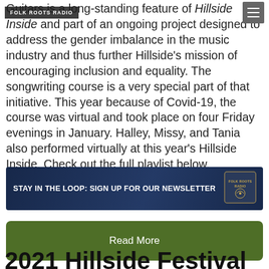FOLK ROOTS RADIO
Guitars is a long-standing feature of Hillside Inside and part of an ongoing project designed to address the gender imbalance in the music industry and thus further Hillside's mission of encouraging inclusion and equality. The songwriting course is a very special part of that initiative. This year because of Covid-19, the course was virtual and took place on four Friday evenings in January. Halley, Missy, and Tania also performed virtually at this year's Hillside Inside. Check out the full playlist below.
[Figure (infographic): Newsletter signup banner with text: STAY IN THE LOOP: SIGN UP FOR OUR NEWSLETTER, with Folk Roots Radio logo on right, dark blue textured background]
Read More
2021 Hillside Festival Girl…